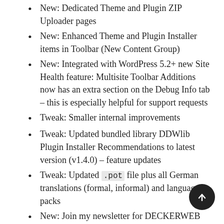New: Dedicated Theme and Plugin ZIP Uploader pages
New: Enhanced Theme and Plugin Installer items in Toolbar (New Content Group)
New: Integrated with WordPress 5.2+ new Site Health feature: Multisite Toolbar Additions now has an extra section on the Debug Info tab – this is especially helpful for support requests
Tweak: Smaller internal improvements
Tweak: Updated bundled library DDWlib Plugin Installer Recommendations to latest version (v1.4.0) – feature updates
Tweak: Updated .pot file plus all German translations (formal, informal) and language packs
New: Join my newsletter for DECKERWEB